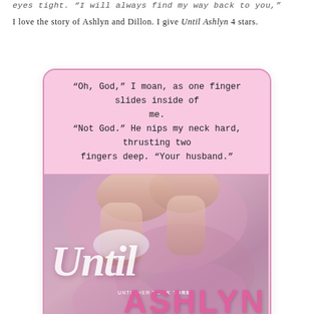eyes tight. "I will always find my way back to you,"
I love the story of Ashlyn and Dillon. I give Until Ashlyn 4 stars.
[Figure (illustration): Book cover for 'Until Ashlyn' by Aurora Rose Reynolds (Until Her Book Three). Pink background with a quote box at top reading: "Oh, God," I moan, as one finger slides inside of me. "Not God." He nips my neck hard, thrusting two fingers deep. "Your husband." Below is the book cover showing two people embracing, with script title 'Until' and bold pink 'ASHLYN'. Bottom bar in dark background shows 'NEW YORK TIMES & USA TODAY BESTSELLING AUTHOR Aurora Rose Reynolds'.]